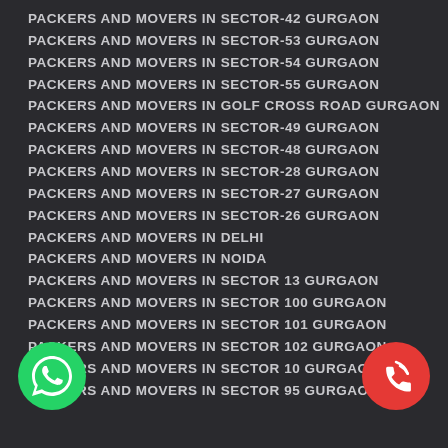PACKERS AND MOVERS IN SECTOR-42 GURGAON
PACKERS AND MOVERS IN SECTOR-53 GURGAON
PACKERS AND MOVERS IN SECTOR-54 GURGAON
PACKERS AND MOVERS IN SECTOR-55 GURGAON
PACKERS AND MOVERS IN GOLF CROSS ROAD GURGAON
PACKERS AND MOVERS IN SECTOR-49 GURGAON
PACKERS AND MOVERS IN SECTOR-48 GURGAON
PACKERS AND MOVERS IN SECTOR-28 GURGAON
PACKERS AND MOVERS IN SECTOR-27 GURGAON
PACKERS AND MOVERS IN SECTOR-26 GURGAON
PACKERS AND MOVERS IN DELHI
PACKERS AND MOVERS IN NOIDA
PACKERS AND MOVERS IN SECTOR 13 GURGAON
PACKERS AND MOVERS IN SECTOR 100 GURGAON
PACKERS AND MOVERS IN SECTOR 101 GURGAON
PACKERS AND MOVERS IN SECTOR 102 GURGAON
PACKERS AND MOVERS IN SECTOR 10 GURGAON
PACKERS AND MOVERS IN SECTOR 95 GURGAON
[Figure (illustration): WhatsApp green phone icon on bottom left]
[Figure (illustration): Red phone/call icon on bottom right]